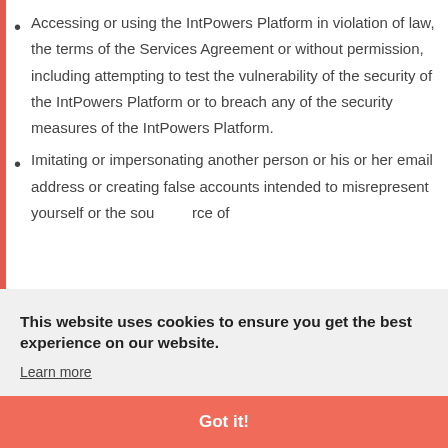Accessing or using the IntPowers Platform in violation of law, the terms of the Services Agreement or without permission, including attempting to test the vulnerability of the security of the IntPowers Platform or to breach any of the security measures of the IntPowers Platform.
Imitating or impersonating another person or his or her email address or creating false accounts intended to misrepresent yourself or the source of
owers
hout
This website uses cookies to ensure you get the best experience on our website.
Learn more
Got it!